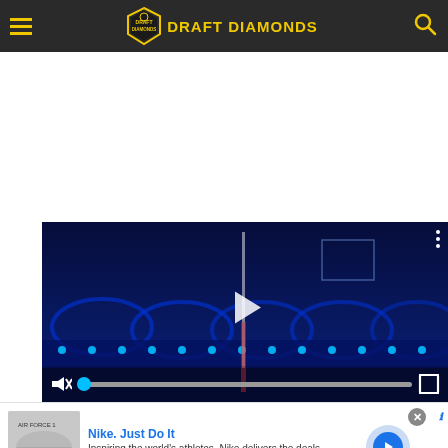DRAFT DIAMONDS
[Figure (screenshot): Video player showing a blue-lit stadium at night with a play button in the center, mute icon, progress bar with cyan dot, and fullscreen icon. Three-dots menu in top right.]
[Figure (screenshot): Nike advertisement banner: Nike. Just Do It — Inspiring the world's athletes, Nike delivers the deals — www.nike.com — with shoe thumbnail image and blue chevron CTA button.]